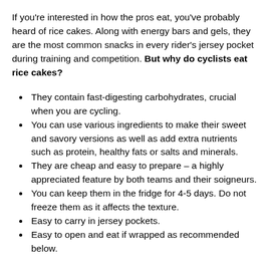If you're interested in how the pros eat, you've probably heard of rice cakes. Along with energy bars and gels, they are the most common snacks in every rider's jersey pocket during training and competition. But why do cyclists eat rice cakes?
They contain fast-digesting carbohydrates, crucial when you are cycling.
You can use various ingredients to make their sweet and savory versions as well as add extra nutrients such as protein, healthy fats or salts and minerals.
They are cheap and easy to prepare – a highly appreciated feature by both teams and their soigneurs.
You can keep them in the fridge for 4-5 days. Do not freeze them as it affects the texture.
Easy to carry in jersey pockets.
Easy to open and eat if wrapped as recommended below.